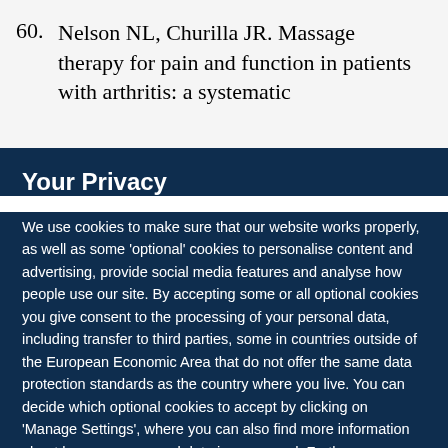60. Nelson NL, Churilla JR. Massage therapy for pain and function in patients with arthritis: a systematic
Your Privacy
We use cookies to make sure that our website works properly, as well as some 'optional' cookies to personalise content and advertising, provide social media features and analyse how people use our site. By accepting some or all optional cookies you give consent to the processing of your personal data, including transfer to third parties, some in countries outside of the European Economic Area that do not offer the same data protection standards as the country where you live. You can decide which optional cookies to accept by clicking on 'Manage Settings', where you can also find more information about how your personal data is processed. Further information can be found in our privacy policy.
Accept all cookies
Manage preferences